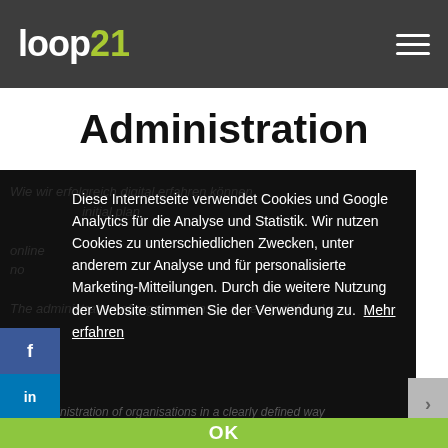loop21
Administration
Diese Internetseite verwendet Cookies und Google Analytics für die Analyse und Statistik. Wir nutzen Cookies zu unterschiedlichen Zwecken, unter anderem zur Analyse und für personalisierte Marketing-Mitteilungen. Durch die weitere Nutzung der Website stimmen Sie der Verwendung zu.  Mehr erfahren
OK
of solving most situations. We support you in